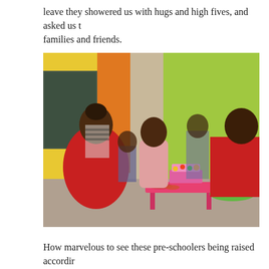leave they showered us with hugs and high fives, and asked us to families and friends.
[Figure (photo): Indoor classroom scene showing two adults in red shirts with a group of young children around a small pink table. The table has a colorful cake and decorations on it, and a green bowl with popcorn is nearby. The walls are painted bright yellow, orange, and green, with a chalkboard visible on the left.]
How marvelous to see these pre-schoolers being raised accordir